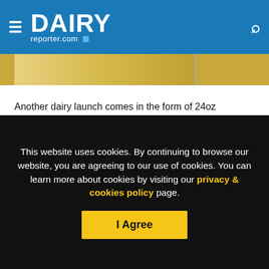DAIRY reporter.com
[Figure (photo): Partial image of dairy products with yellow/gold packaging on a light background]
Another dairy launch comes in the form of 24oz creamers. Chobani said they contain five or fewer natural ingredients like locally-sourced, farm-fresh milk and cream with no added oil. They are available now in Caramel, Sweet Cream, Hazelnut and Vanilla.
It's not an either/or for dairy and non-dairy
This website uses cookies. By continuing to browse our website, you are agreeing to our use of cookies. You can learn more about cookies by visiting our privacy & cookies policy page.